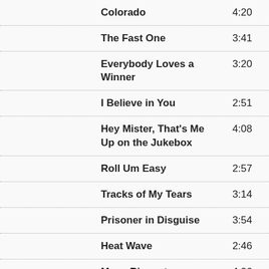Colorado  4:20
The Fast One  3:41
Everybody Loves a Winner  3:20
I Believe in You  2:51
Hey Mister, That's Me Up on the Jukebox  4:08
Roll Um Easy  2:57
Tracks of My Tears  3:14
Prisoner in Disguise  3:54
Heat Wave  2:46
Many Rivers to  4:06